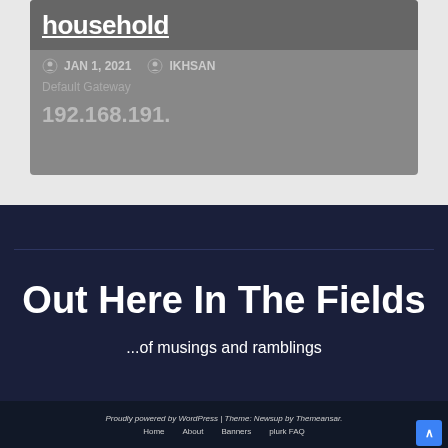[Figure (screenshot): Partial blog post card with dark gray background showing date JAN 1, 2021, author IKHSAN, Default Gateway label, and partial IP address starting with 192.168.191.]
Out Here In The Fields
...of musings and ramblings
Proudly powered by WordPress | Theme: Newsup by Themeansar.
Home   About   Banners   plurk FAQ